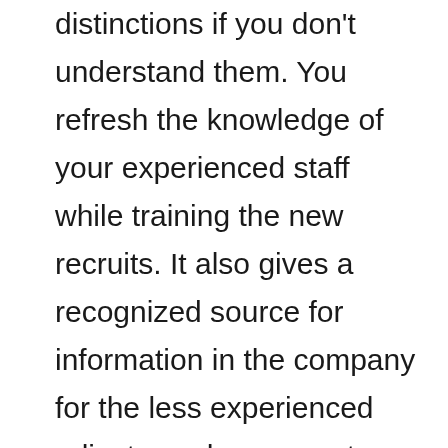distinctions if you don't understand them. You refresh the knowledge of your experienced staff while training the new recruits. It also gives a recognized source for information in the company for the less experienced adjusters who may not want you to think they don't know how to do their job.

Many law firms are willing to host in-house seminars at little or no cost. Think about having a knowledgeable